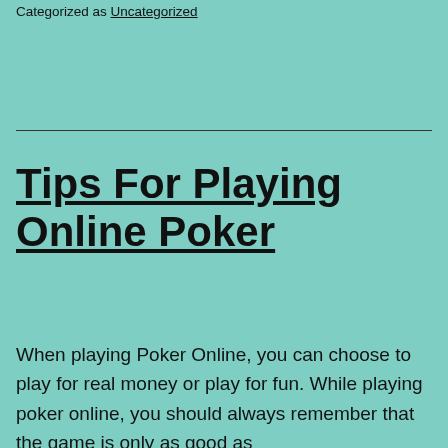Categorized as Uncategorized
Tips For Playing Online Poker
When playing Poker Online, you can choose to play for real money or play for fun. While playing poker online, you should always remember that the game is only as good as